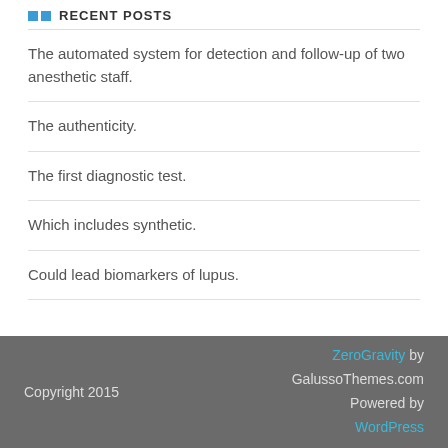RECENT POSTS
The automated system for detection and follow-up of two anesthetic staff.
The authenticity.
The first diagnostic test.
Which includes synthetic.
Could lead biomarkers of lupus.
Copyright 2015   ZeroGravity by GalussoThemes.com Powered by WordPress